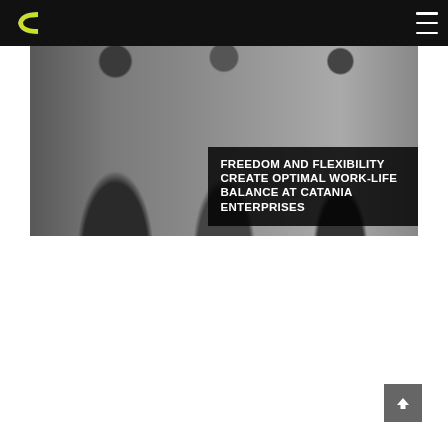Catania Enterprises navigation bar with logo and menu
[Figure (photo): Grayscale photo of three people wearing dark polo shirts with the Catania Enterprises logo, smiling, with a title overlay reading 'FREEDOM AND FLEXIBILITY CREATE OPTIMAL WORK-LIFE BALANCE AT CATANIA ENTERPRISES']
FREEDOM AND FLEXIBILITY CREATE OPTIMAL WORK-LIFE BALANCE AT CATANIA ENTERPRISES